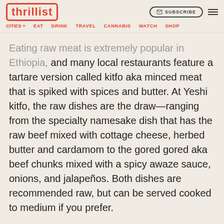thrillist — CITIES + EAT DRINK TRAVEL CANNABIS WATCH SHOP
Eating raw meat is extremely popular in Ethiopia, and many local restaurants feature a tartare version called kitfo aka minced meat that is spiked with spices and butter. At Yeshi kitfo, the raw dishes are the draw—ranging from the specialty namesake dish that has the raw beef mixed with cottage cheese, herbed butter and cardamom to the gored gored aka beef chunks mixed with a spicy awaze sauce, onions, and jalapeños. Both dishes are recommended raw, but can be served cooked to medium if you prefer.